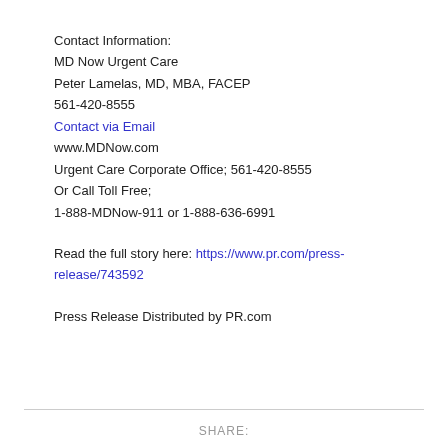Contact Information:
MD Now Urgent Care
Peter Lamelas, MD, MBA, FACEP
561-420-8555
Contact via Email
www.MDNow.com
Urgent Care Corporate Office; 561-420-8555
Or Call Toll Free;
1-888-MDNow-911 or 1-888-636-6991
Read the full story here: https://www.pr.com/press-release/743592
Press Release Distributed by PR.com
SHARE: